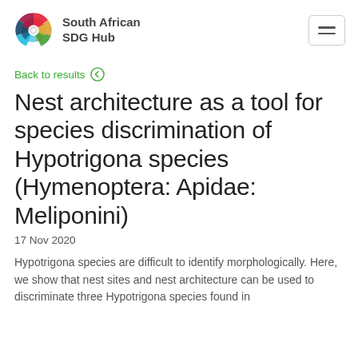[Figure (logo): South African SDG Hub logo with colorful circular icon and text 'South African SDG Hub']
Back to results ⊙
Nest architecture as a tool for species discrimination of Hypotrigona species (Hymenoptera: Apidae: Meliponini)
17 Nov 2020
Hypotrigona species are difficult to identify morphologically. Here, we show that nest sites and nest architecture can be used to discriminate three Hypotrigona species found in